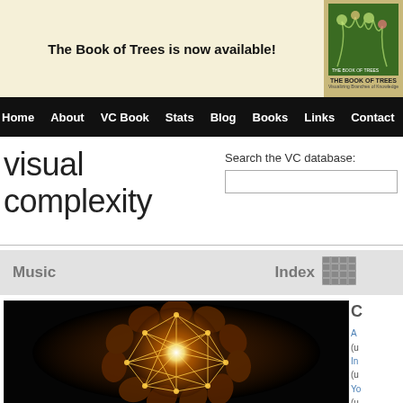The Book of Trees is now available!
[Figure (photo): Book cover for 'The Book of Trees' showing illustrated branches and leaves]
Home  About  VC Book  Stats  Blog  Books  Links  Contact
visual complexity
Search the VC database:
Music
Index
[Figure (photo): Glowing spherical network visualization on black background, showing interconnected nodes forming a dome shape with warm orange and yellow light]
A
(u
In
(u
Yo
(u
U
ht
Pr
It
di